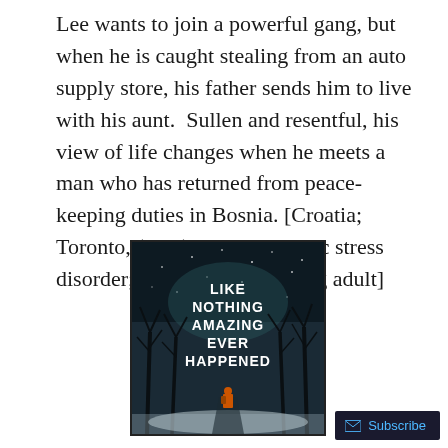Lee wants to join a powerful gang, but when he is caught stealing from an auto supply store, his father sends him to live with his aunt.  Sullen and resentful, his view of life changes when he meets a man who has returned from peace-keeping duties in Bosnia. [Croatia; Toronto, (Ont.); Post-traumatic stress disorder; Aunts; Gangs; Young adult]
[Figure (illustration): Book cover for 'Like Nothing Amazing Ever Happened' showing a dark winter scene with bare trees, snow, and a small figure in the background. Title text in white uppercase letters on the cover.]